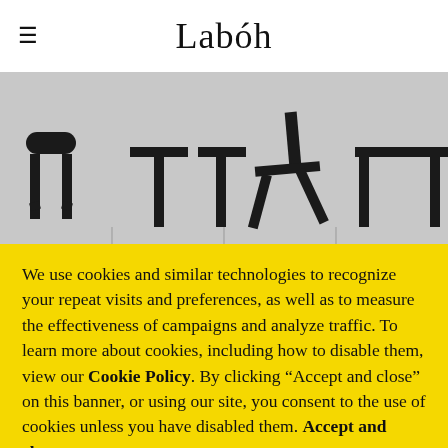Labóh
[Figure (illustration): Gray banner showing silhouette icons of furniture items (stool, two tables, chair, table) in black on a gray background, arranged horizontally]
We use cookies and similar technologies to recognize your repeat visits and preferences, as well as to measure the effectiveness of campaigns and analyze traffic. To learn more about cookies, including how to disable them, view our Cookie Policy. By clicking “Accept and close” on this banner, or using our site, you consent to the use of cookies unless you have disabled them. Accept and close.